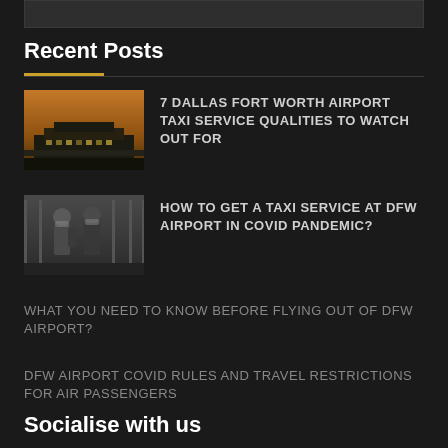Recent Posts
7 DALLAS FORT WORTH AIRPORT TAXI SERVICE QUALITIES TO WATCH OUT FOR
HOW TO GET A TAXI SERVICE AT DFW AIRPORT IN COVID PANDEMIC?
WHAT YOU NEED TO KNOW BEFORE FLYING OUT OF DFW AIRPORT?
DFW AIRPORT COVID RULES AND TRAVEL RESTRICTIONS FOR AIR PASSENGERS
Socialise with us